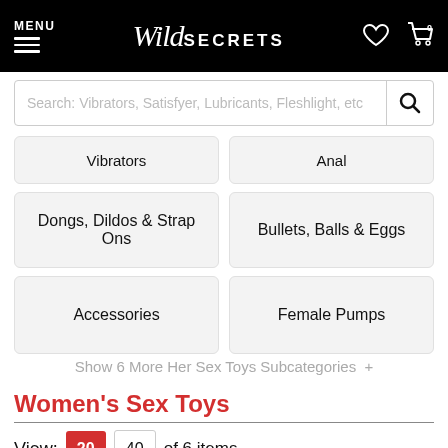MENU | Wild SECRETS
Search: Vibrators, Satisfyer, Lubricants, Fleshlight, etc
Vibrators
Anal
Dongs, Dildos & Strap Ons
Bullets, Balls & Eggs
Accessories
Female Pumps
Show 6 More Her Sex Toys Subcategories +
Women's Sex Toys
View: 20  40  of 6 items
Filter  Sort By  Clear